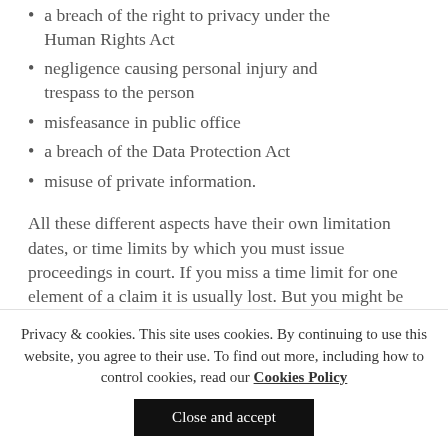a breach of the right to privacy under the Human Rights Act
negligence causing personal injury and trespass to the person
misfeasance in public office
a breach of the Data Protection Act
misuse of private information.
All these different aspects have their own limitation dates, or time limits by which you must issue proceedings in court. If you miss a time limit for one element of a claim it is usually lost. But you might be able to ask the court for permission to extend the time limit, or to proceed on other heads of claim.
Privacy & cookies. This site uses cookies. By continuing to use this website, you agree to their use. To find out more, including how to control cookies, read our Cookies Policy
Close and accept